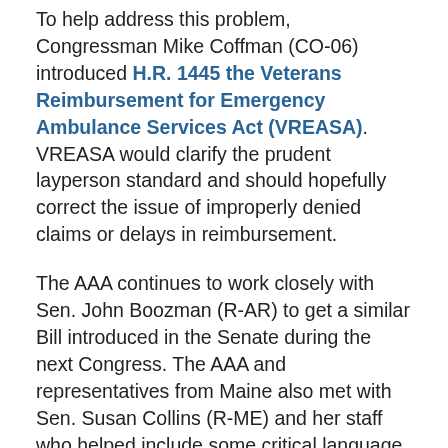To help address this problem, Congressman Mike Coffman (CO-06) introduced H.R. 1445 the Veterans Reimbursement for Emergency Ambulance Services Act (VREASA). VREASA would clarify the prudent layperson standard and should hopefully correct the issue of improperly denied claims or delays in reimbursement.
The AAA continues to work closely with Sen. John Boozman (R-AR) to get a similar Bill introduced in the Senate during the next Congress. The AAA and representatives from Maine also met with Sen. Susan Collins (R-ME) and her staff who helped include some critical language related to this issue in the Senate's FY2019 MilCon-VA Appropriations Bill (S. 3024). The language can be found in the Senate's Committee Report on that Bill. This is a crucial step in the right direction to ensure that